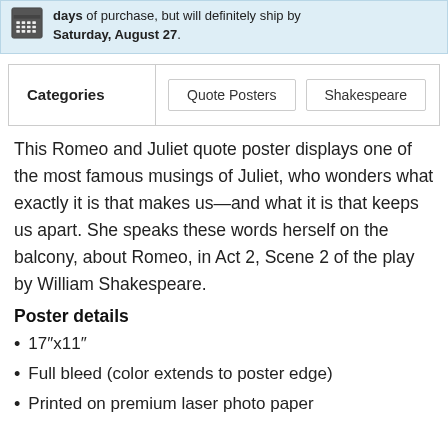days of purchase, but will definitely ship by Saturday, August 27.
| Categories | Quote Posters | Shakespeare |
| --- | --- | --- |
This Romeo and Juliet quote poster displays one of the most famous musings of Juliet, who wonders what exactly it is that makes us—and what it is that keeps us apart. She speaks these words herself on the balcony, about Romeo, in Act 2, Scene 2 of the play by William Shakespeare.
Poster details
17"x11"
Full bleed (color extends to poster edge)
Printed on premium laser photo paper